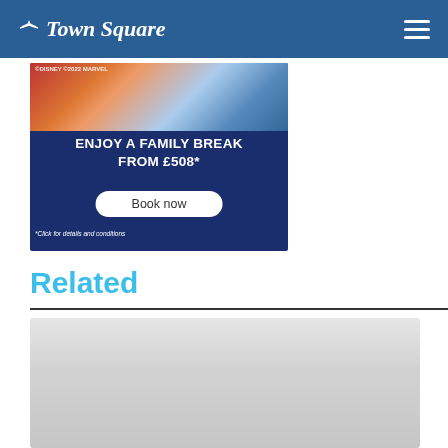Town Square
[Figure (other): Disney Marvel promotional ad banner: 'ENJOY A FAMILY BREAK FROM £508*' with Book now button and footnote '*Click for details and conditions']
Related
[Figure (photo): Gray placeholder image card for related content]